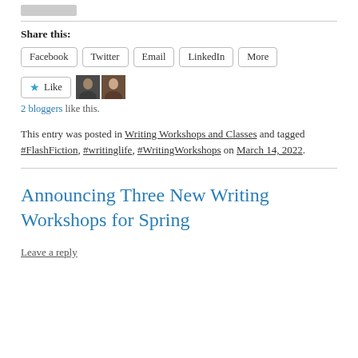[Figure (photo): Small grey image thumbnail at top]
Share this:
Facebook
Twitter
Email
LinkedIn
More
[Figure (other): Like button with star icon and two blogger avatar thumbnails]
2 bloggers like this.
This entry was posted in Writing Workshops and Classes and tagged #FlashFiction, #writinglife, #WritingWorkshops on March 14, 2022.
Announcing Three New Writing Workshops for Spring
Leave a reply